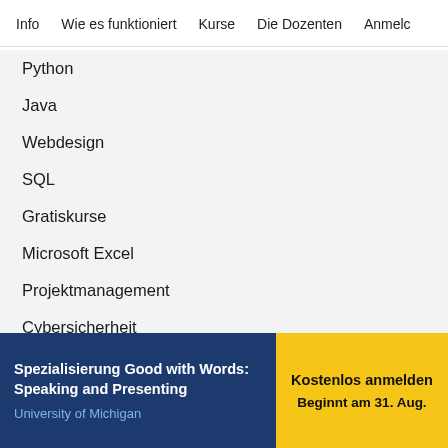Info   Wie es funktioniert   Kurse   Die Dozenten   Anmelc
Python
Java
Webdesign
SQL
Gratiskurse
Microsoft Excel
Projektmanagement
Cybersicherheit
Personalwesen
Kostenlose Kurse in Datenverarbeitung
Englisch sprechen
Spezialisierung Good with Words: Speaking and Presenting
University of Michigan
Kostenlos anmelden
Beginnt am 31. Aug.